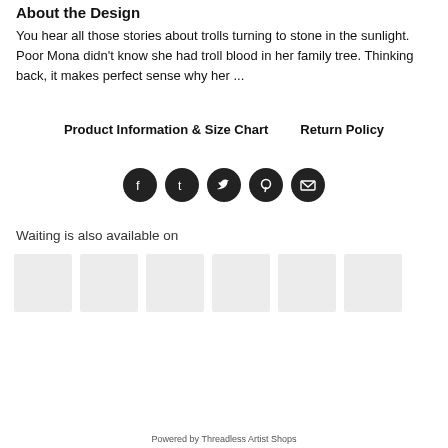About the Design
You hear all those stories about trolls turning to stone in the sunlight. Poor Mona didn't know she had troll blood in her family tree. Thinking back, it makes perfect sense why her ...
Product Information & Size Chart    Return Policy
[Figure (infographic): Five social sharing icon buttons in dark circles: Facebook, Tumblr, Twitter, Pinterest, Email]
Waiting is also available on
[Figure (illustration): Six light grey thumbnail image placeholders in a row]
Powered by Threadless Artist Shops